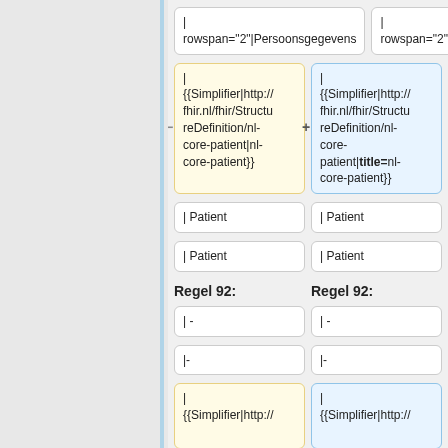| rowspan="2"|Persoonsgegevens
| rowspan="2"|Persoonsgegevens
| {{Simplifier|http://fhir.nl/fhir/StructureDefinition/nl-core-patient|nl-core-patient}}
| {{Simplifier|http://fhir.nl/fhir/StructureDefinition/nl-core-patient|title=nl-core-patient}}
| Patient
| Patient
| Patient
| Patient
Regel 92:
Regel 92:
| -
| -
|-
|-
| {{Simplifier|http://
| {{Simplifier|http://